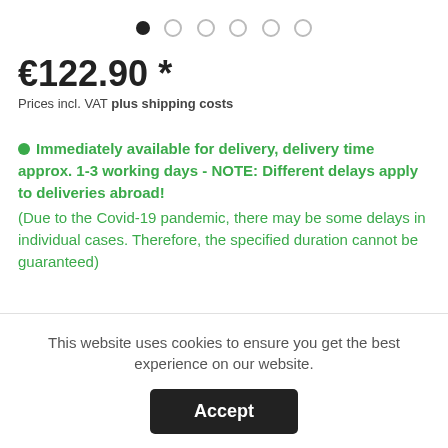[Figure (other): Carousel navigation dots: one filled black dot followed by five empty/outline dots]
€122.90 *
Prices incl. VAT plus shipping costs
Immediately available for delivery, delivery time approx. 1-3 working days - NOTE: Different delays apply to deliveries abroad! (Due to the Covid-19 pandemic, there may be some delays in individual cases. Therefore, the specified duration cannot be guaranteed)
1  Add to shopping cart ›
This website uses cookies to ensure you get the best experience on our website.
Accept